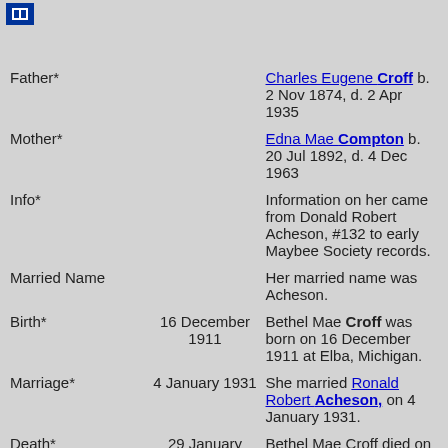[Figure (other): Small blue icon/button in top-left corner]
| Field | Date | Information |
| --- | --- | --- |
| Father* |  | Charles Eugene Croff b. 2 Nov 1874, d. 2 Apr 1935 |
| Mother* |  | Edna Mae Compton b. 20 Jul 1892, d. 4 Dec 1963 |
| Info* |  | Information on her came from Donald Robert Acheson, #132 to early Maybee Society records. |
| Married Name |  | Her married name was Acheson. |
| Birth* | 16 December 1911 | Bethel Mae Croff was born on 16 December 1911 at Elba, Michigan. |
| Marriage* | 4 January 1931 | She married Ronald Robert Acheson, on 4 January 1931. |
| Death* | 29 January 1967 | Bethel Mae Croff died on 29 January 1967 at Flint, Genesee County, Michigan, at age 55. |